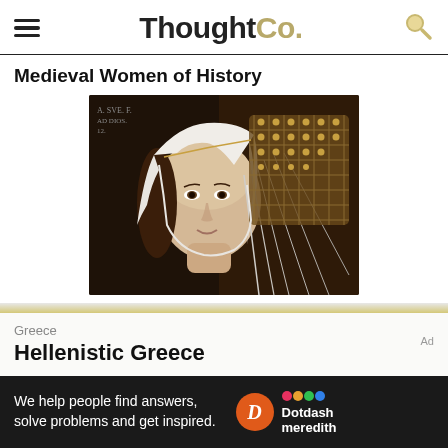ThoughtCo.
Medieval Women of History
[Figure (photo): Portrait painting of a medieval woman wearing a white veil and ornate gold/brown netted headdress, dark background]
Greece
Hellenistic Greece
[Figure (photo): Partial image with caption: Illustration of Alexander the Great]
We help people find answers, solve problems and get inspired.
Dotdash meredith